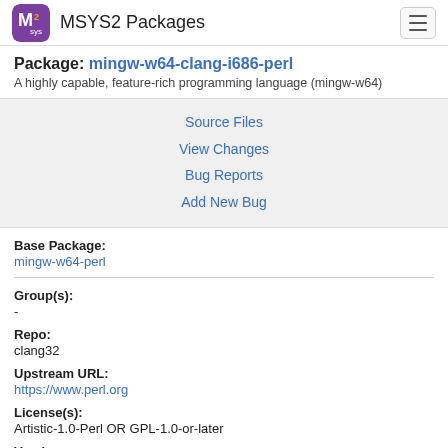MSYS2 Packages
Package: mingw-w64-clang-i686-perl
A highly capable, feature-rich programming language (mingw-w64)
Source Files
View Changes
Bug Reports
Add New Bug
Base Package:
mingw-w64-perl
Group(s):
-
Repo:
clang32
Upstream URL:
https://www.perl.org
License(s):
Artistic-1.0-Perl OR GPL-1.0-or-later
Version: